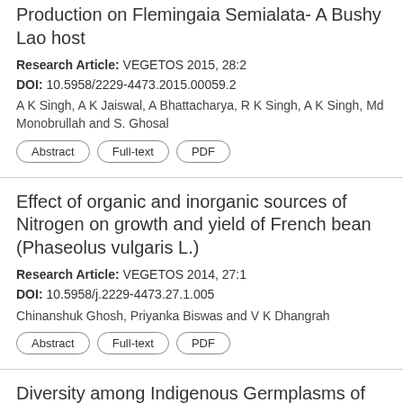Production on Flemingaia Semialata- A Bushy Lao host
Research Article: VEGETOS 2015, 28:2
DOI: 10.5958/2229-4473.2015.00059.2
A K Singh, A K Jaiswal, A Bhattacharya, R K Singh, A K Singh, Md Monobrullah and S. Ghosal
Abstract | Full-text | PDF
Effect of organic and inorganic sources of Nitrogen on growth and yield of French bean (Phaseolus vulgaris L.)
Research Article: VEGETOS 2014, 27:1
DOI: 10.5958/j.2229-4473.27.1.005
Chinanshuk Ghosh, Priyanka Biswas and V K Dhangrah
Abstract | Full-text | PDF
Diversity among Indigenous Germplasms of Melon (Cucumis melo L.) Through Seed Protein Profiling Pattern
Research Article: VEGETOS 2015, 28:3